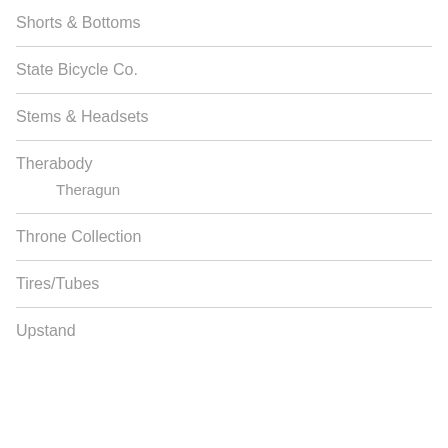Shorts & Bottoms
State Bicycle Co.
Stems & Headsets
Therabody
Theragun
Throne Collection
Tires/Tubes
Upstand